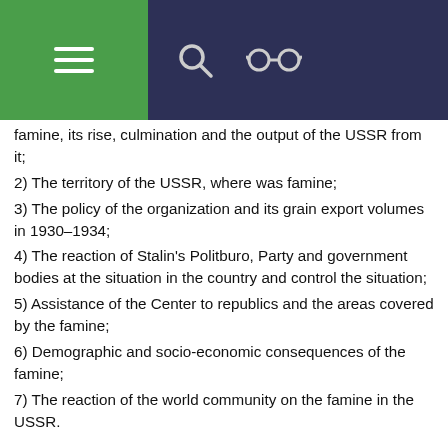[Navigation bar with hamburger menu, search icon, and glasses icon]
famine, its rise, culmination and the output of the USSR from it;
2) The territory of the USSR, where was famine;
3) The policy of the organization and its grain export volumes in 1930–1934;
4) The reaction of Stalin's Politburo, Party and government bodies at the situation in the country and control the situation;
5) Assistance of the Center to republics and the areas covered by the famine;
6) Demographic and socio-economic consequences of the famine;
7) The reaction of the world community on the famine in the USSR.
Feature of this project is to expand chronological frame of the study with a view to display all the causes of hunger, which was already observed in 1929 as a result of forced...